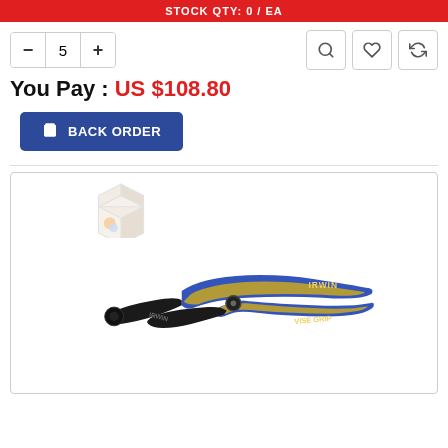STOCK QTY: 0 / EA
- 5 +
You Pay : US $108.80
BACK ORDER
[Figure (photo): IRWIN VISE-GRIP end-cutting pliers with blue and yellow bi-material handles on white background, plus a placeholder box icon in the upper left of the product image area]